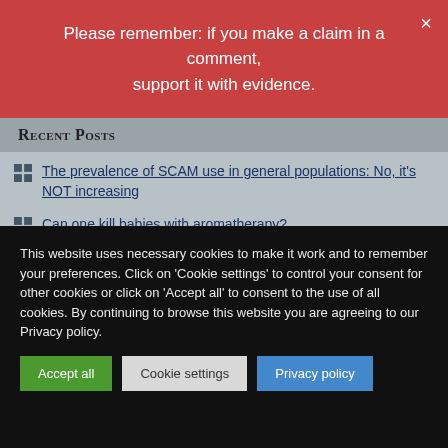Please remember: if you make a claim in a comment, support it with evidence.
Recent Posts
The prevalence of SCAM use in general populations: No, it's NOT increasing
Can one kill babies with aromatherapy?
An open letter to the President of the Austrian Medical Association aims to stop medical quackery
Osteopathic Manipulative Treatment for Pediatric Conditions: A systematic review lays bare the unethical behavior of osteopaths
High potency cannabis is associated with an increased risk of psychosis
This website uses necessary cookies to make it work and to remember your preferences. Click on 'Cookie settings' to control your consent for other cookies or click on 'Accept all' to consent to the use of all cookies. By continuing to browse this website you are agreeing to our Privacy policy.
Accept all | Cookie settings | Privacy policy